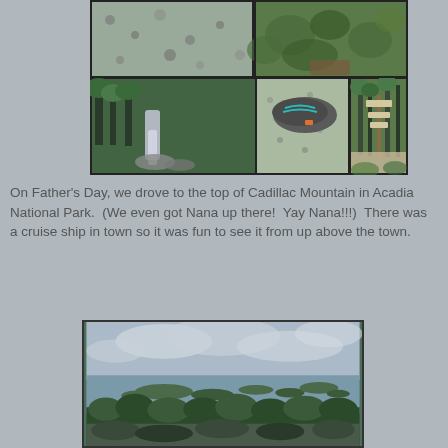[Figure (photo): Collage of 5 nature/trail photos: top row shows gravel/rocks and leafy plants/moss; bottom row shows a waterfall in forest, a sneaker on gravel path, and a trail sign post in woods]
On Father's Day, we drove to the top of Cadillac Mountain in Acadia National Park.  (We even got Nana up there!  Yay Nana!!!)  There was a cruise ship in town so it was fun to see it from up above the town.
[Figure (photo): Panoramic view from the top of Cadillac Mountain in Acadia National Park, showing forested hillside in foreground, water and small islands in the middle, and cloudy sky above]